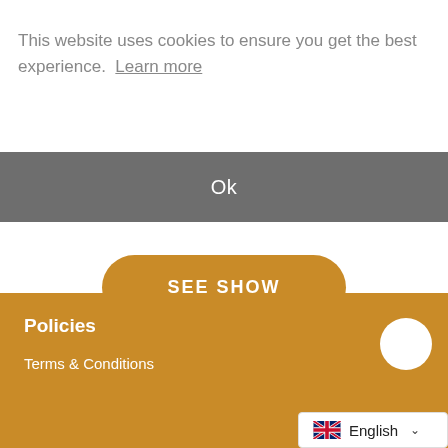This website uses cookies to ensure you get the best experience. Learn more
Ok
SEE SHOW
Policies
Terms & Conditions
English